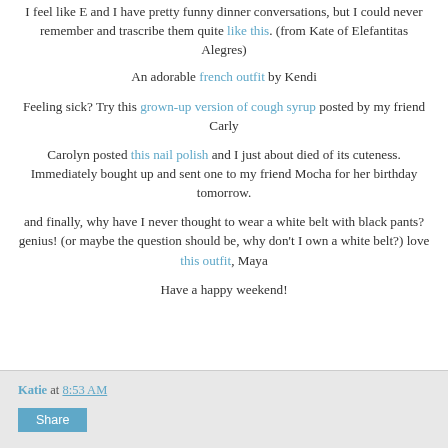I feel like E and I have pretty funny dinner conversations, but I could never remember and trascribe them quite like this. (from Kate of Elefantitas Alegres)
An adorable french outfit by Kendi
Feeling sick? Try this grown-up version of cough syrup posted by my friend Carly
Carolyn posted this nail polish and I just about died of its cuteness. Immediately bought up and sent one to my friend Mocha for her birthday tomorrow.
and finally, why have I never thought to wear a white belt with black pants? genius! (or maybe the question should be, why don't I own a white belt?) love this outfit, Maya
Have a happy weekend!
Katie at 8:53 AM  Share